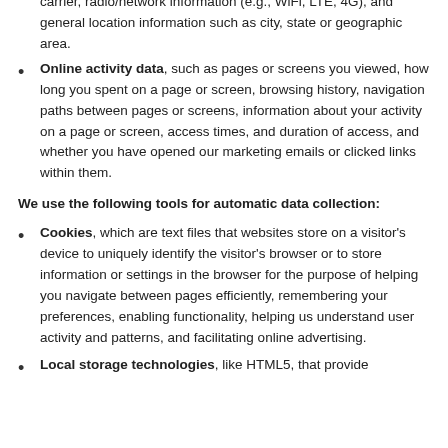carrier, radio/network information (e.g., WiFi, LTE, 4G), and general location information such as city, state or geographic area.
Online activity data, such as pages or screens you viewed, how long you spent on a page or screen, browsing history, navigation paths between pages or screens, information about your activity on a page or screen, access times, and duration of access, and whether you have opened our marketing emails or clicked links within them.
We use the following tools for automatic data collection:
Cookies, which are text files that websites store on a visitor's device to uniquely identify the visitor's browser or to store information or settings in the browser for the purpose of helping you navigate between pages efficiently, remembering your preferences, enabling functionality, helping us understand user activity and patterns, and facilitating online advertising.
Local storage technologies, like HTML5, that provide